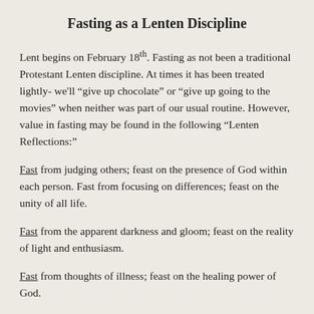Fasting as a Lenten Discipline
Lent begins on February 18th. Fasting as not been a traditional Protestant Lenten discipline. At times it has been treated lightly- we'll “give up chocolate” or “give up going to the movies” when neither was part of our usual routine. However, value in fasting may be found in the following “Lenten Reflections:”
Fast from judging others; feast on the presence of God within each person. Fast from focusing on differences; feast on the unity of all life.
Fast from the apparent darkness and gloom; feast on the reality of light and enthusiasm.
Fast from thoughts of illness; feast on the healing power of God.